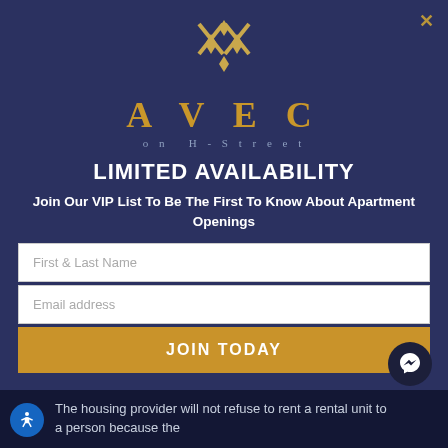[Figure (logo): AVEC on H-Street geometric gold logo with diamond/X pattern above the text AVEC on H-Street]
LIMITED AVAILABILITY
Join Our VIP List To Be The First To Know About Apartment Openings
First & Last Name (input field)
Email address (input field)
JOIN TODAY (button)
The housing provider will not refuse to rent a rental unit to a person because the